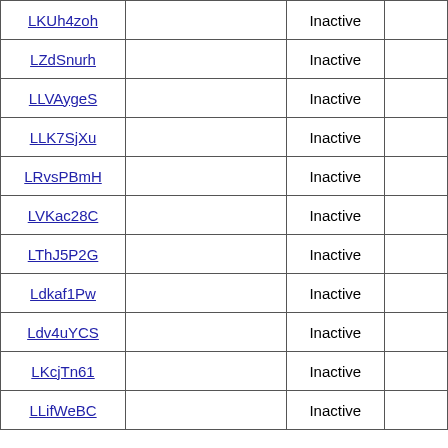| LKUh4zoh |  | Inactive |  |
| LZdSnurh |  | Inactive |  |
| LLVAygeS |  | Inactive |  |
| LLK7SjXu |  | Inactive |  |
| LRvsPBmH |  | Inactive |  |
| LVKac28C |  | Inactive |  |
| LThJ5P2G |  | Inactive |  |
| Ldkaf1Pw |  | Inactive |  |
| Ldv4uYCS |  | Inactive |  |
| LKcjTn61 |  | Inactive |  |
| LLifWeBC |  | Inactive |  |